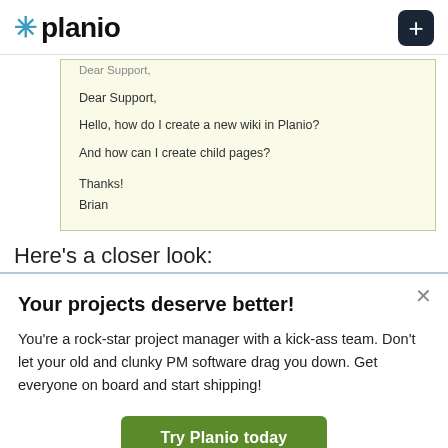[Figure (logo): Planio logo with teal asterisk and bold black text, plus a dark navy '+' button on the right]
[Figure (screenshot): Email message box with light yellow background reading: Dear Support, Hello, how do I create a new wiki in Planio? And how can I create child pages? Thanks! Brian]
Here's a closer look:
Your projects deserve better!
You're a rock-star project manager with a kick-ass team. Don't let your old and clunky PM software drag you down. Get everyone on board and start shipping!
Try Planio today